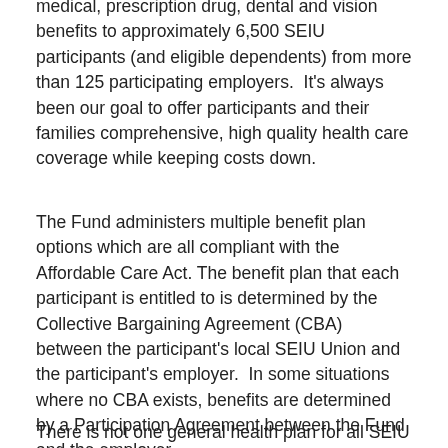medical, prescription drug, dental and vision benefits to approximately 6,500 SEIU participants (and eligible dependents) from more than 125 participating employers.  It's always been our goal to offer participants and their families comprehensive, high quality health care coverage while keeping costs down.
The Fund administers multiple benefit plan options which are all compliant with the Affordable Care Act. The benefit plan that each participant is entitled to is determined by the Collective Bargaining Agreement (CBA) between the participant's local SEIU Union and the participant's employer.  In some situations where no CBA exists, benefits are determined by a Participation Agreement between the Fund and the employer.
There is not one general health plan for all SEIU